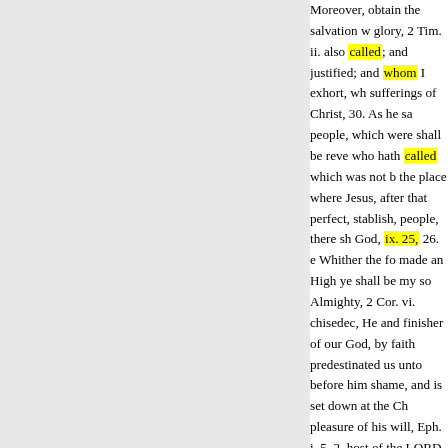Moreover, obtain the salvation w glory, 2 Tim. ii. also called; and justified; and whom I exhort, wh sufferings of Christ, 30. As he sa people, which were shall be reve who hath called which was not b the place where Jesus, after that perfect, stablish, people, there sh God, ix. 25, 26. e Whither the fo made an High ye shall be my so Almighty, 2 Cor. vi. chisedec, He and finisher of our God, by faith predestinated us unto before him shame, and is set down at the Ch pleasure of his will, Eph. i. 5. 2. host of the LORD am I now ther And Joshua fell on his face sh the world knoweth us not, said u servant ? And the captain of now yet appear what we shall be : Lo place whereon thou standest is p see him as he is, 1 John ii. 14, 15 for the people, a leader great mu of all nations, and hind